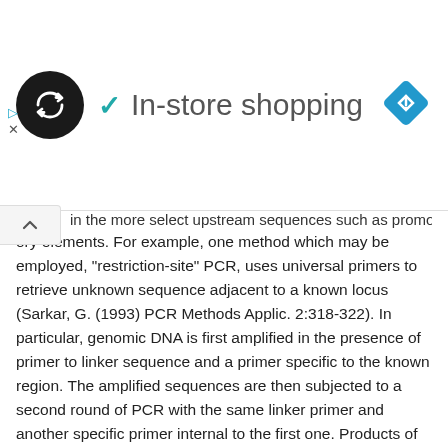[Figure (other): Ad banner with circular logo showing arrows icon, checkmark, 'In-store shopping' text, and blue diamond direction sign at right]
...in the more select upstream sequences such as promoters and regulatory elements. For example, one method which may be employed, "restriction-site" PCR, uses universal primers to retrieve unknown sequence adjacent to a known locus (Sarkar, G. (1993) PCR Methods Applic. 2:318-322). In particular, genomic DNA is first amplified in the presence of primer to linker sequence and a primer specific to the known region. The amplified sequences are then subjected to a second round of PCR with the same linker primer and another specific primer internal to the first one. Products of each round of PCR are transcribed with an appropriate RNA polymerase and sequenced using reverse transcriptase.
[0069] Inverse PCR may also be used to amplify or extend sequences using divergent primers based on a known region (Triglia, T. et al. (1988) Nucleic Acids Res. 16:8186). The primers may be designed using OLIGO 4.06 Primer Analysis software (National Biosciences Inc., Plymouth, Minn.), or another appropriate program, to be 22-30 nucleotides in length, to have a GC content of 50% or more, and to anneal to the target sequence at temperatures about 68°-72° C. The method uses several restriction enzymes to generate a suitable fragment in the known region of a gene.